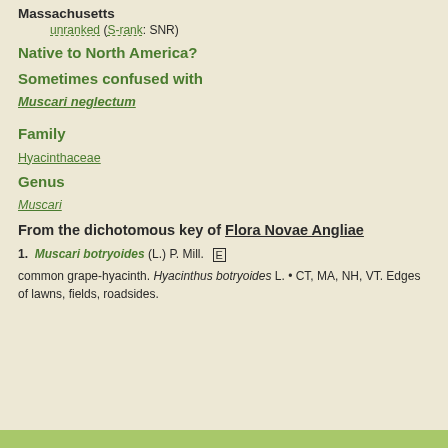Massachusetts
unranked (S-rank: SNR)
Native to North America?
Sometimes confused with
Muscari neglectum
Family
Hyacinthaceae
Genus
Muscari
From the dichotomous key of Flora Novae Angliae
1. Muscari botryoides (L.) P. Mill. [E]
common grape-hyacinth. Hyacinthus botryoides L. • CT, MA, NH, VT. Edges of lawns, fields, roadsides.